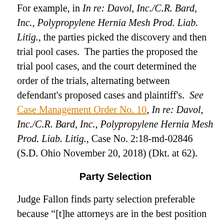For example, in In re: Davol, Inc./C.R. Bard, Inc., Polypropylene Hernia Mesh Prod. Liab. Litig., the parties picked the discovery and then trial pool cases.  The parties the proposed the trial pool cases, and the court determined the order of the trials, alternating between defendant's proposed cases and plaintiff's.  See Case Management Order No. 10, In re: Davol, Inc./C.R. Bard, Inc., Polypropylene Hernia Mesh Prod. Liab. Litig., Case No. 2:18-md-02846 (S.D. Ohio November 20, 2018) (Dkt. at 62).
Party Selection
Judge Fallon finds party selection preferable because “[t]he attorneys are in the best position to know, or ascertain, the true census of the litigation,”